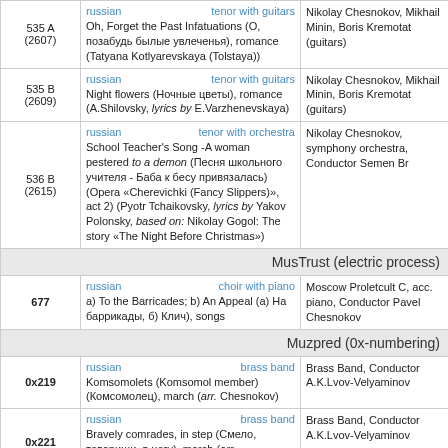| ID | Description | Performers |
| --- | --- | --- |
| 535 A (2607) | russian | tenor with guitars
Oh, Forget the Past Infatuations (О, позабудь былые увлеченья), romance (Tatyana Kotlyarevskaya (Tolstaya)) | Nikolay Chesnokov, Mikhail Minin, Boris Kremotat (guitars) |
| 535 B (2609) | russian | tenor with guitars
Night flowers (Ночные цветы), romance (A.Shilovsky, lyrics by E.Varzhenevskaya) | Nikolay Chesnokov, Mikhail Minin, Boris Kremotat (guitars) |
| 536 B (2615) | russian | tenor with orchestra
School Teacher's Song -A woman pestered to a demon (Песня школьного учителя - Баба к бесу привязалась) (Opera «Cherevichki (Fancy Slippers)», act 2) (Pyotr Tchaikovsky, lyrics by Yakov Polonsky, based on: Nikolay Gogol: The story «The Night Before Christmas») | Nikolay Chesnokov, symphony orchestra, Conductor Semen Br |
| [section] | MusTrust (electric process) |  |
| 677 | russian | choir with piano
a) To the Barricades; b) An Appeal (a) На баррикады, б) Клич), songs | Moscow Proletcult C, acc. piano, Conductor Pavel Chesnokov |
| [section] | Muzpred (0x-numbering) |  |
| 0x219 | russian | brass band
Komsomolets (Komsomol member) (Комсомолец), march (arr. Chesnokov) | Brass Band, Conductor A.K.Lvov-Velyaminov |
| 0x221 | russian | brass band
Bravely comrades, in step (Смело, товарищи, в ногу), march (arr. Chesnokov) | Brass Band, Conductor A.K.Lvov-Velyaminov |